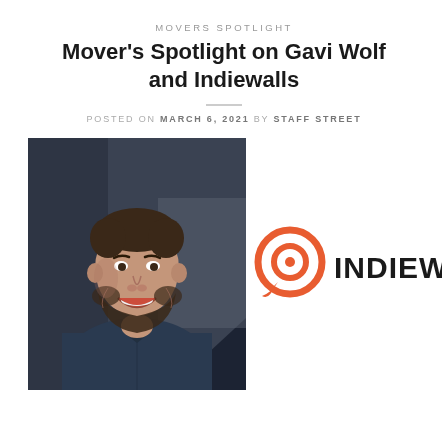MOVERS SPOTLIGHT
Mover's Spotlight on Gavi Wolf and Indiewalls
POSTED ON MARCH 6, 2021 BY STAFF STREET
[Figure (photo): Portrait photo of Gavi Wolf, a smiling man with a beard wearing a dark blue button-up shirt, against a dark background]
[Figure (logo): Indiewalls logo: orange circular speech-bubble/target icon followed by bold text INDIEWALLS]